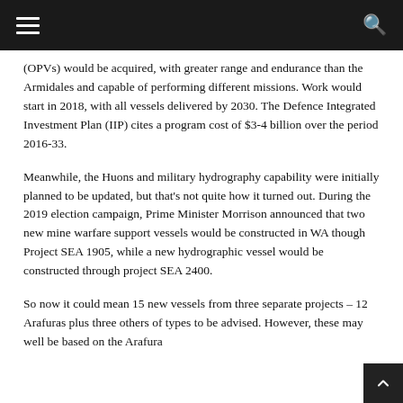≡  🔍
(OPVs) would be acquired, with greater range and endurance than the Armidales and capable of performing different missions. Work would start in 2018, with all vessels delivered by 2030. The Defence Integrated Investment Plan (IIP) cites a program cost of $3-4 billion over the period 2016-33.
Meanwhile, the Huons and military hydrography capability were initially planned to be updated, but that's not quite how it turned out. During the 2019 election campaign, Prime Minister Morrison announced that two new mine warfare support vessels would be constructed in WA though Project SEA 1905, while a new hydrographic vessel would be constructed through project SEA 2400.
So now it could mean 15 new vessels from three separate projects – 12 Arafuras plus three others of types to be advised. However, these may well be based on the Arafura